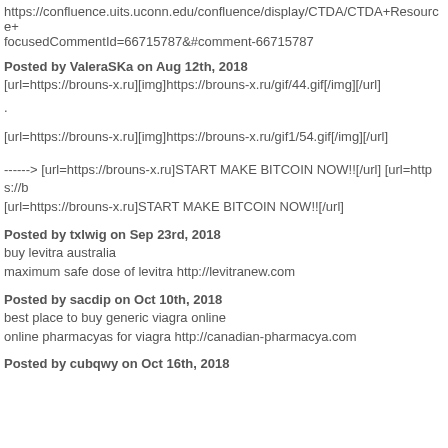https://confluence.uits.uconn.edu/confluence/display/CTDA/CTDA+Resource+focusedCommentId=66715787&#comment-66715787
Posted by ValeraSKa on Aug 12th, 2018
[url=https://brouns-x.ru][img]https://brouns-x.ru/gif/44.gif[/img][/url]
.
[url=https://brouns-x.ru][img]https://brouns-x.ru/gif1/54.gif[/img][/url]
------> [url=https://brouns-x.ru]START MAKE BITCOIN NOW!![/url] [url=https://b [url=https://brouns-x.ru]START MAKE BITCOIN NOW!![/url]
Posted by txlwig on Sep 23rd, 2018
buy levitra australia
maximum safe dose of levitra http://levitranew.com
Posted by sacdip on Oct 10th, 2018
best place to buy generic viagra online
online pharmacyas for viagra http://canadian-pharmacya.com
Posted by cubqwy on Oct 16th, 2018